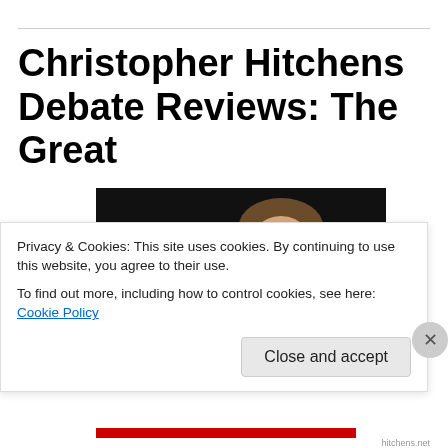Christopher Hitchens Debate Reviews: The Great
[Figure (photo): A man (Christopher Hitchens) speaking into a microphone on a dark stage, wearing a dark jacket and blue shirt, looking downward.]
Privacy & Cookies: This site uses cookies. By continuing to use this website, you agree to their use.
To find out more, including how to control cookies, see here: Cookie Policy
Close and accept